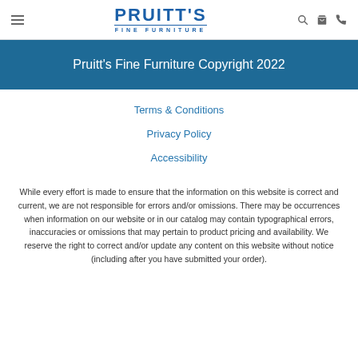PRUITT'S FINE FURNITURE
Pruitt's Fine Furniture Copyright 2022
Terms & Conditions
Privacy Policy
Accessibility
While every effort is made to ensure that the information on this website is correct and current, we are not responsible for errors and/or omissions. There may be occurrences when information on our website or in our catalog may contain typographical errors, inaccuracies or omissions that may pertain to product pricing and availability. We reserve the right to correct and/or update any content on this website without notice (including after you have submitted your order).